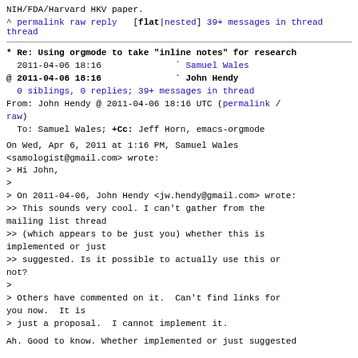NIH/FDA/Harvard HKV paper.
^ permalink raw reply   [flat|nested] 39+ messages in thread
* Re: Using orgmode to take "inline notes" for research
  2011-04-06 18:16              ` Samuel Wales
@ 2011-04-06 18:16              ` John Hendy
  0 siblings, 0 replies; 39+ messages in thread
From: John Hendy @ 2011-04-06 18:16 UTC (permalink / raw)
  To: Samuel Wales; +Cc: Jeff Horn, emacs-orgmode
On Wed, Apr 6, 2011 at 1:16 PM, Samuel Wales
<samologist@gmail.com> wrote:
> Hi John,
>
> On 2011-04-06, John Hendy <jw.hendy@gmail.com> wrote:
>> This sounds very cool. I can't gather from the mailing list thread
>> (which appears to be just you) whether this is implemented or just
>> suggested. Is it possible to actually use this or not?
>
> Others have commented on it.  Can't find links for you now.  It is
> just a proposal.  I cannot implement it.
Ah. Good to know. Whether implemented or just suggested